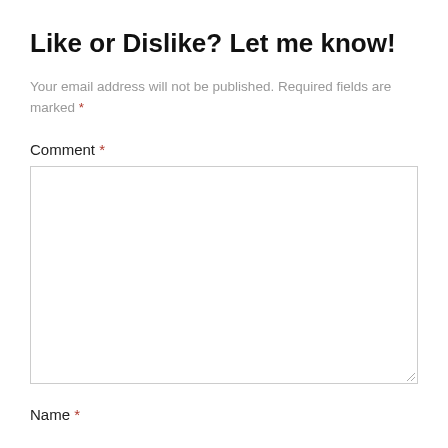Like or Dislike? Let me know!
Your email address will not be published. Required fields are marked *
Comment *
[Figure (other): Empty comment textarea form field with resize handle at bottom-right]
Name *